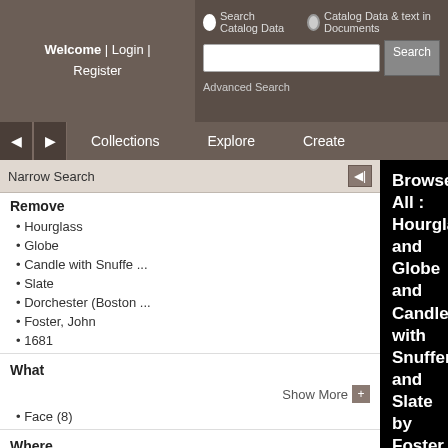Welcome | Login | Register
Search Catalog Data   Catalog Data & text in Documents
Search  Advanced Search
Collections   Explore   Create
Narrow Search
Remove
• Hourglass
• Globe
• Candle with Snuffe ...
• Slate
• Dorchester (Boston ...
• Foster, John
• 1681
What
Show More
• Face (8)
Where
• Massachusetts (8)
Who
• "The Old Stone ... (8)
Advanced Search
Browse All : Hourglass and Globe and Candle with Snuffer and Slate by Foster, John of Dorchester (Boston) from 1681
1-8 of 8
[Figure (photo): Black and white photograph of an ornate gravestone with carved decorations including an hourglass and globe motif, with inscribed text below]
Foster, John
1681